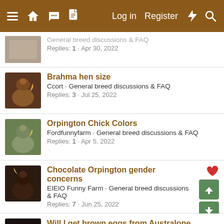Navigation bar: hamburger menu, home, forum, document icons | Log in | Register | flash | search
(partial) General breed discussions & FAQ · Replies: 1 · Apr 30, 2022
Brahma hen size · Ccort · General breed discussions & FAQ · Replies: 3 · Jul 25, 2022
Orpington Chick Colors · Fordfunnyfarm · General breed discussions & FAQ · Replies: 1 · Apr 5, 2022
Chocolate Orpington gender concerns · EIEIO Funny Farm · General breed discussions & FAQ · Replies: 7 · Jun 25, 2022
Will I get brown eggs from Australope Rooster and Easter Egger Hens? · Happy Helper · General breed discussions & FAQ · Replies: 3 · Oct 28, 2021